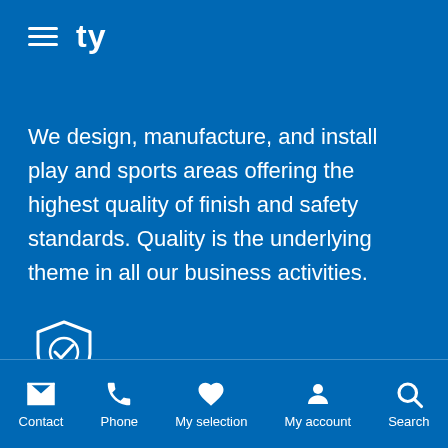ty
We design, manufacture, and install play and sports areas offering the highest quality of finish and safety standards. Quality is the underlying theme in all our business activities.
[Figure (illustration): Shield icon with checkmark inside, white outline on blue background]
Conformity
All our products are checked and tested by an independent laboratory TÜV, which issues a certificate of
Contact | Phone | My selection | My account | Search